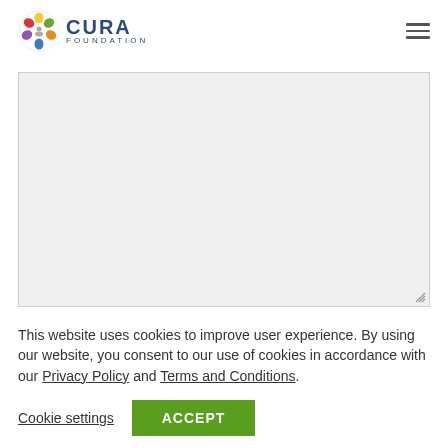[Figure (logo): CURA Foundation logo with colorful circular emblem and text 'CURA FOUNDATION']
[Figure (screenshot): A light gray empty text area/input box with a resize handle in the bottom-right corner]
This website uses cookies to improve user experience. By using our website, you consent to our use of cookies in accordance with our Privacy Policy and Terms and Conditions.
Cookie settings
ACCEPT